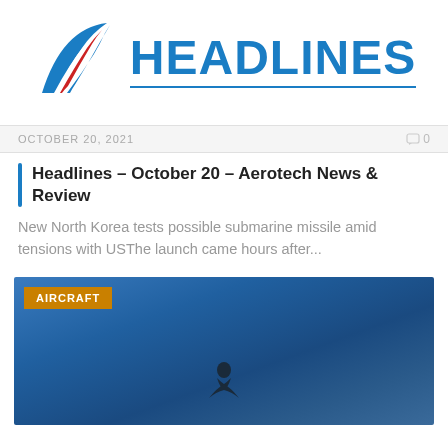[Figure (logo): Aerotech Headlines logo with blue and red chevron/wing graphic and bold blue HEADLINES text with blue underline]
OCTOBER 20, 2021   0
Headlines – October 20 – Aerotech News & Review
New North Korea tests possible submarine missile amid tensions with USThe launch came hours after...
[Figure (photo): Aircraft silhouette against a blue sky with clouds, tagged with AIRCRAFT badge]